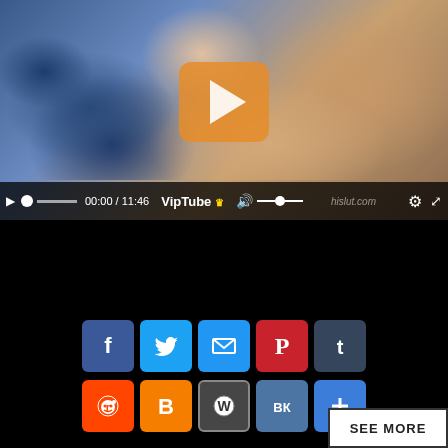[Figure (screenshot): Video player showing a paused video with an orange play button overlay. Controls bar shows 00:00 / 11:46 timestamp, VipTube branding, volume control, settings gear, and fullscreen button. Watermark reads hislut.com]
[Figure (infographic): Social sharing buttons row 1: Facebook, Twitter, Email, Pinterest, Tumblr. Row 2: Reddit, Blogger, WordPress, VK, Share/Plus. Back-to-top arrow button on right. SEE MORE button at bottom right.]